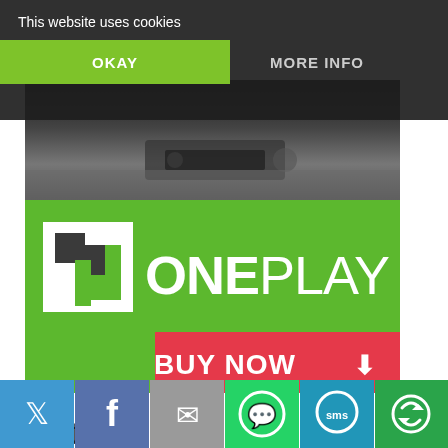This website uses cookies
OKAY
MORE INFO
[Figure (screenshot): OnePlay gaming peripheral photo (dark background with controller/device)]
[Figure (logo): OnePlay banner with logo and BUY NOW button on green background]
Meta
Register
[Figure (infographic): Social share bar with Twitter, Facebook, Email, WhatsApp, SMS, and other sharing icons]